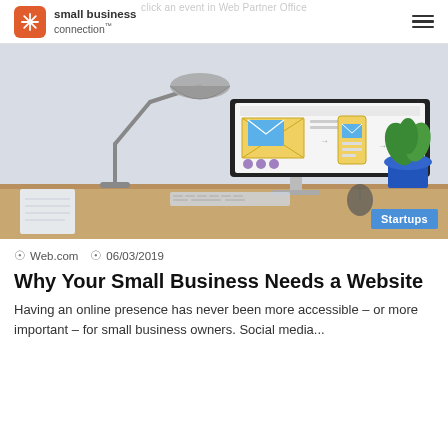small business connection
[Figure (photo): A desk with a monitor displaying website wireframes, a desk lamp, keyboard, mouse, and a plant in a blue pot. A 'Startups' badge is overlaid in the bottom-right corner.]
Web.com  06/03/2019
Why Your Small Business Needs a Website
Having an online presence has never been more accessible – or more important – for small business owners. Social media...